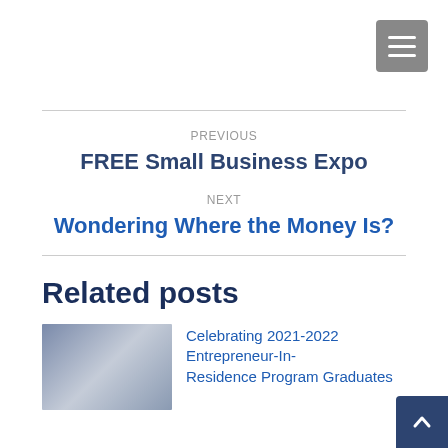[Figure (other): Hamburger menu button icon in top right corner]
PREVIOUS
FREE Small Business Expo
NEXT
Wondering Where the Money Is?
Related posts
[Figure (photo): Group of people in formal attire standing together]
Celebrating 2021-2022 Entrepreneur-In-Residence Program Graduates